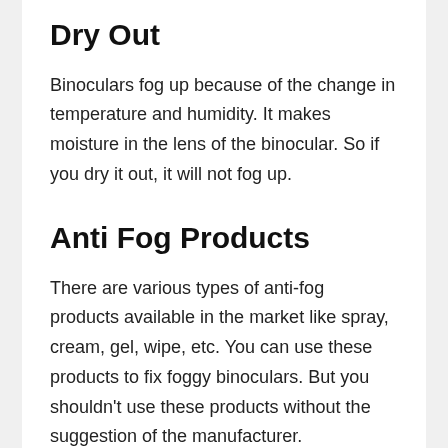Dry Out
Binoculars fog up because of the change in temperature and humidity. It makes moisture in the lens of the binocular. So if you dry it out, it will not fog up.
Anti Fog Products
There are various types of anti-fog products available in the market like spray, cream, gel, wipe, etc. You can use these products to fix foggy binoculars. But you shouldn't use these products without the suggestion of the manufacturer.
Use A Desiccant